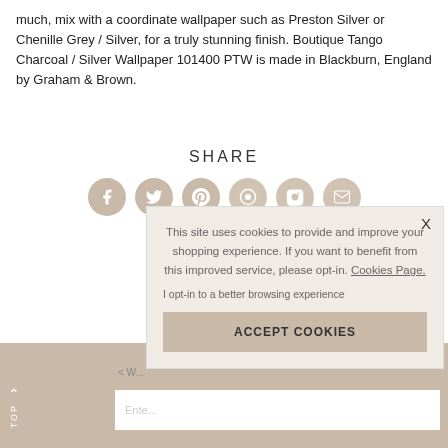much, mix with a coordinate wallpaper such as Preston Silver or Chenille Grey / Silver, for a truly stunning finish. Boutique Tango Charcoal / Silver Wallpaper 101400 PTW is made in Blackburn, England by Graham & Brown.
SHARE
[Figure (other): Social media sharing icons: Facebook, Twitter, Pinterest, Instagram, and other circular icons in beige/tan color]
[Figure (screenshot): Cookie consent popup overlay with text: This site uses cookies to provide and improve your shopping experience. If you want to benefit from this improved service, please opt-in. Cookies Page. I opt-in to a better browsing experience. ACCEPT COOKIES button.]